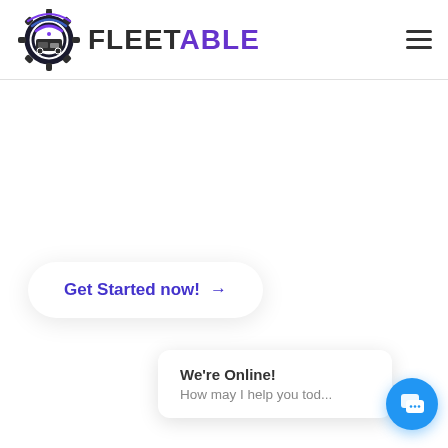[Figure (logo): Fleetable logo: gear/truck icon with WiFi signal arcs in purple and blue, followed by bold uppercase text FLEET in dark gray and ABLE in purple]
[Figure (other): Hamburger menu icon (three horizontal lines) in top right corner]
Get Started now! →
We're Online!
How may I help you tod...
[Figure (other): Blue circular chat button with speech bubble icon]